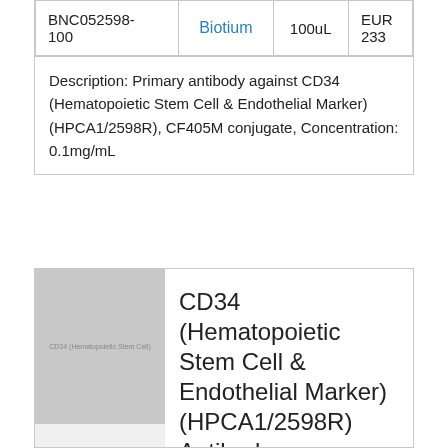| Catalog # | Supplier | Size | Price |
| --- | --- | --- | --- |
| BNC052598-100 | Biotium | 100uL | EUR 233 |
| Description: Primary antibody against CD34 (Hematopoietic Stem Cell & Endothelial Marker) (HPCA1/2598R), CF405M conjugate, Concentration: 0.1mg/mL |  |  |  |
[Figure (photo): Grayscale placeholder image for CD34 (Hematopoietic Stem Cell & Endothelial Marker) antibody product]
CD34 (Hematopoietic Stem Cell & Endothelial Marker) (HPCA1/2598R) Antibody